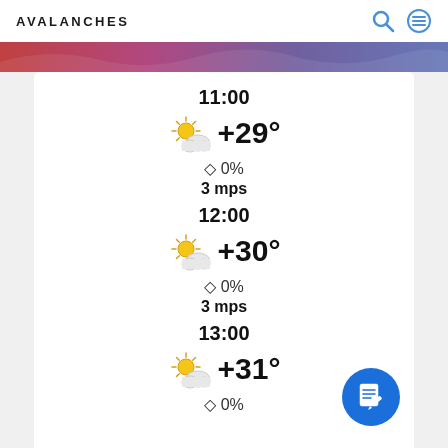AVALANCHES
[Figure (screenshot): Colorful banner strip with abstract gradient]
11:00
[Figure (illustration): Partly cloudy sun weather icon]
+29°
◇ 0%
3 mps
12:00
[Figure (illustration): Partly cloudy sun weather icon]
+30°
◇ 0%
3 mps
13:00
[Figure (illustration): Partly cloudy sun weather icon]
+31°
◇ 0%